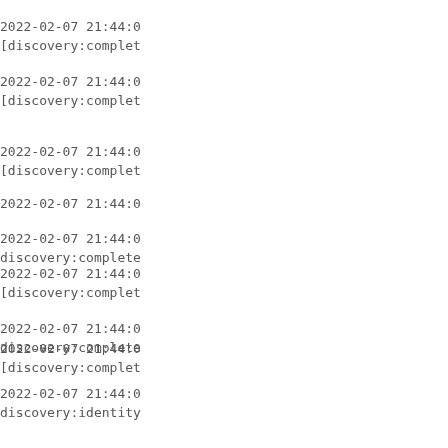2022-02-07 21:44:0
[discovery:complet
2022-02-07 21:44:0
[discovery:complet
2022-02-07 21:44:0
[discovery:complet
2022-02-07 21:44:0
[discovery:complet
2022-02-07 21:44:0
2022-02-07 21:44:0
discovery:complete
2022-02-07 21:44:0
discovery:identity
2022-02-07 21:44:0
discovery:feature:b
:: true
2022-02-07 21:44:0
discovery:feature: